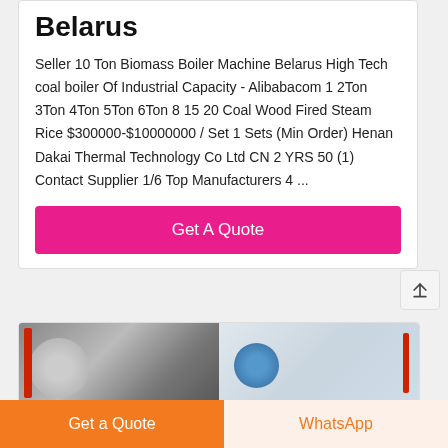Belarus
Seller 10 Ton Biomass Boiler Machine Belarus High Tech coal boiler Of Industrial Capacity - Alibabacom 1 2Ton 3Ton 4Ton 5Ton 6Ton 8 15 20 Coal Wood Fired Steam Rice $300000-$10000000 / Set 1 Sets (Min Order) Henan Dakai Thermal Technology Co Ltd CN 2 YRS 50 (1) Contact Supplier 1/6 Top Manufacturers 4 ...
[Figure (other): Pink 'Get A Quote' button]
[Figure (photo): Two industrial boiler machine photos side by side]
Get a Quote
WhatsApp